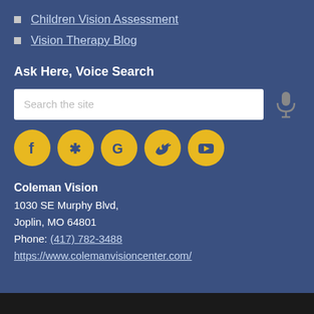Children Vision Assessment
Vision Therapy Blog
Ask Here, Voice Search
Search the site (search input with microphone icon)
[Figure (infographic): Row of five circular social media icons in gold/yellow: Facebook (f), Yelp (asterisk), Google (G), Twitter (bird), YouTube (play button)]
Coleman Vision
1030 SE Murphy Blvd,
Joplin, MO 64801
Phone: (417) 782-3488
https://www.colemanvisioncenter.com/
Powered by EyeFoo...